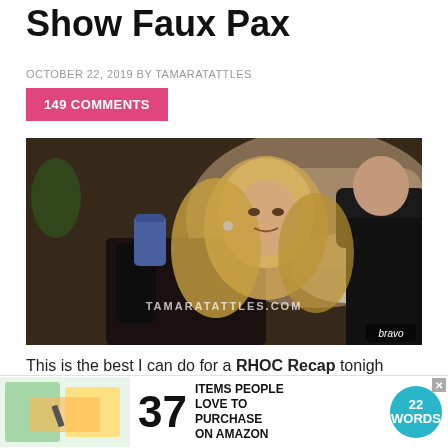Show Faux Pax
OCTOBER 22, 2019 BY TAMARATATTLES
149 COMMENTS
[Figure (photo): TV show still from Bravo featuring a blonde woman in a black outfit holding a blue cup, talking to a man on a couch/bed. Watermark reads TAMARATATTLES.COM and Bravo logo visible bottom right.]
This is the best I can do for a RHOC Recap tonight I get caught
[Figure (infographic): Advertisement banner: '37 ITEMS PEOPLE LOVE TO PURCHASE ON AMAZON' with a CLOSE button overlay and 22 Words logo]